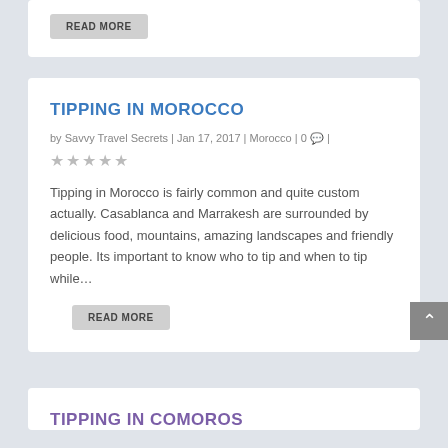READ MORE
TIPPING IN MOROCCO
by Savvy Travel Secrets | Jan 17, 2017 | Morocco | 0 💬 |
★★★★★
Tipping in Morocco is fairly common and quite custom actually. Casablanca and Marrakesh are surrounded by delicious food, mountains, amazing landscapes and friendly people. Its important to know who to tip and when to tip while…
READ MORE
TIPPING IN COMOROS